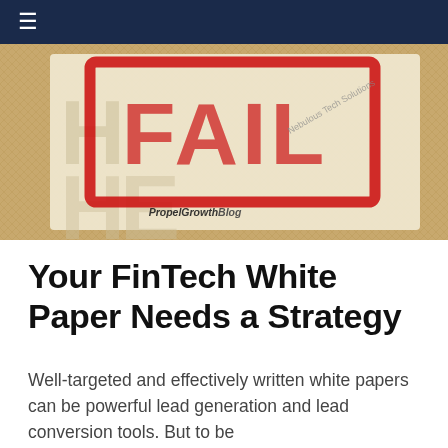≡
[Figure (photo): Close-up photo of a red rubber stamp with the word FAIL stamped on paper. The stamp has a bold red rectangular border. Text watermarks visible including 'PropelGrowthBlog' and 'Nebulous Tech Solutions'. The background is a burlap/woven texture.]
Your FinTech White Paper Needs a Strategy
Well-targeted and effectively written white papers can be powerful lead generation and lead conversion tools. But to be effective, they need to be strategically...